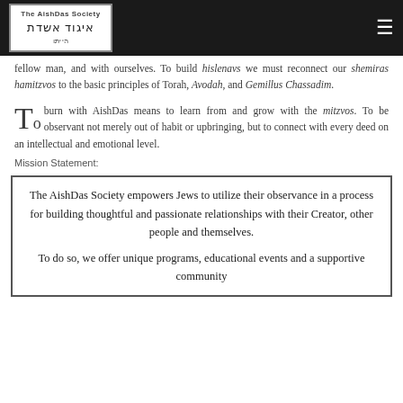The AishDas Society
fellow man, and with ourselves. To build hislenavs we must reconnect our shemiras hamitzvos to the basic principles of Torah, Avodah, and Gemillus Chassadim.
To burn with AishDas means to learn from and grow with the mitzvos. To be observant not merely out of habit or upbringing, but to connect with every deed on an intellectual and emotional level.
Mission Statement:
The AishDas Society empowers Jews to utilize their observance in a process for building thoughtful and passionate relationships with their Creator, other people and themselves.

To do so, we offer unique programs, educational events and a supportive community